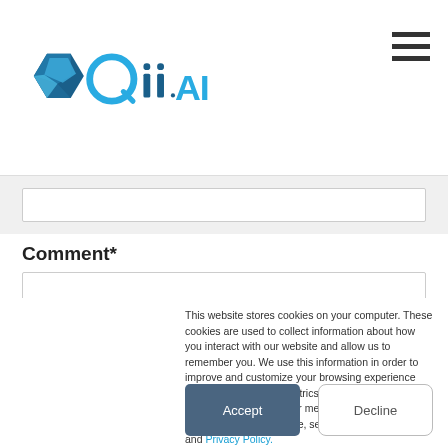[Figure (logo): Qii.AI logo with geometric hexagon icon in blue shades and text 'Qii.AI' in blue]
Comment*
This website stores cookies on your computer. These cookies are used to collect information about how you interact with our website and allow us to remember you. We use this information in order to improve and customize your browsing experience and for analytics and metrics about our visitors both on this website and other media. To find out more about the cookies we use, see our Cookies Policy and Privacy Policy.
If you decline, your information won't be tracked when you visit this website. A single cookie will be used in your browser to remember your preference not to be tracked.